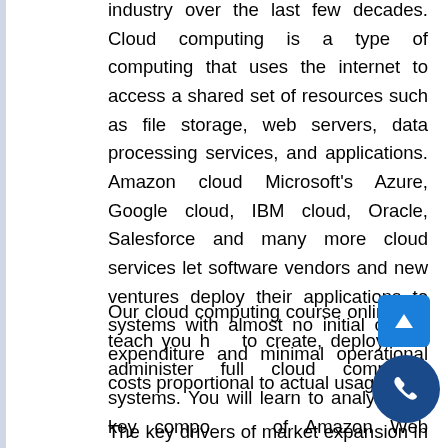industry over the last few decades. Cloud computing is a type of computing that uses the internet to access a shared set of resources such as file storage, web servers, data processing services, and applications. Amazon cloud Microsoft's Azure, Google cloud, IBM cloud, Oracle, Salesforce and many more cloud services let software vendors and new ventures deploy their applications to systems with almost no initial capital expenditure and minimal operational costs proportional to actual usage.
Our cloud computing course online will teach you how to create, deploy, and administer full cloud computing systems. You will learn to analyze the key components of Amazon Web Service, Microsoft Azure, and Google Cloud Platform, evaluate different cloud services & deployment methods, and more.
The key drivers of market expansion in the cloud